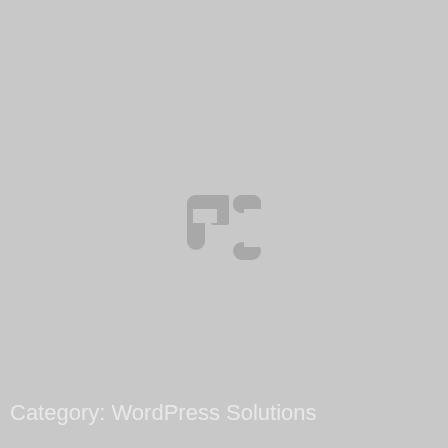[Figure (logo): A stylized logo consisting of two shapes resembling the letters 'r' and 'j' in gray, centered on the page]
Category: WordPress Solutions